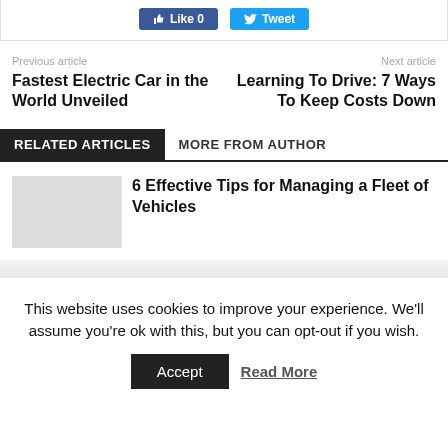[Figure (screenshot): Social share buttons: Facebook Like (0) and Twitter Tweet buttons]
Previous article
Next article
Fastest Electric Car in the World Unveiled
Learning To Drive: 7 Ways To Keep Costs Down
RELATED ARTICLES
MORE FROM AUTHOR
6 Effective Tips for Managing a Fleet of Vehicles
CARS
This website uses cookies to improve your experience. We'll assume you're ok with this, but you can opt-out if you wish.
Accept
Read More